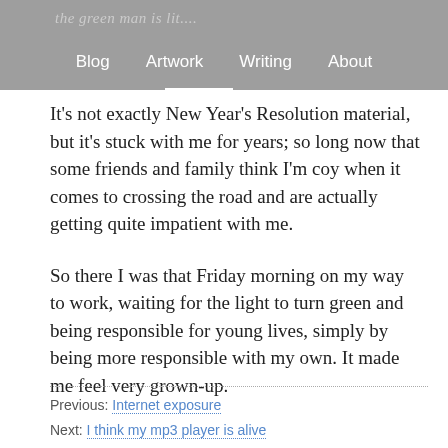the green man is lit... | Blog | Artwork | Writing | About
It's not exactly New Year's Resolution material, but it's stuck with me for years; so long now that some friends and family think I'm coy when it comes to crossing the road and are actually getting quite impatient with me.
So there I was that Friday morning on my way to work, waiting for the light to turn green and being responsible for young lives, simply by being more responsible with my own. It made me feel very grown-up.
Previous: Internet exposure
Next: I think my mp3 player is alive